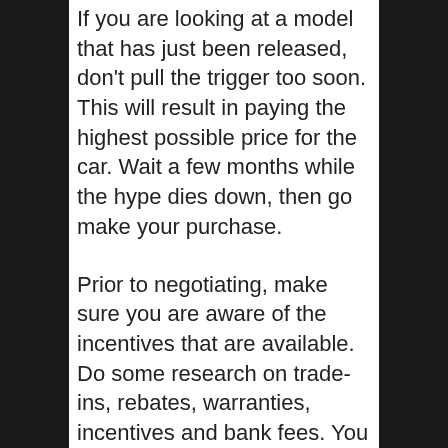If you are looking at a model that has just been released, don't pull the trigger too soon. This will result in paying the highest possible price for the car. Wait a few months while the hype dies down, then go make your purchase.
Prior to negotiating, make sure you are aware of the incentives that are available. Do some research on trade-ins, rebates, warranties, incentives and bank fees. You can only negotiate well if you understand what is realistic.
Find out about all potential dealers' customer service. Check with others to find out how satisfied customers are with the service. Call the department and ask for assistance on something